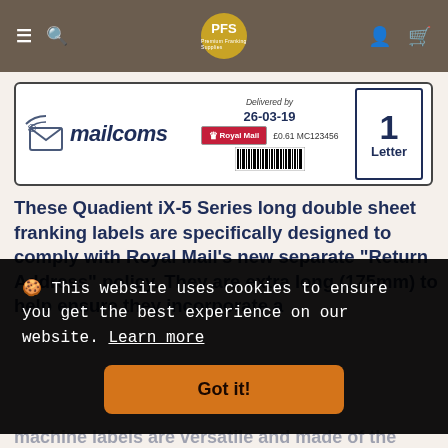PFS navigation bar with menu, search, logo, user and cart icons
[Figure (other): Mailcoms franking label showing Royal Mail delivery stamp dated 26-03-19, £0.61 MC123456, 1 Letter]
These Quadient iX-5 Series long double sheet franking labels are specifically designed to comply with Royal Mail's new separate "Return Address" policy. They are extra long (175mm) to help ensure they incorporate a
🍪 This website uses cookies to ensure you get the best experience on our website. Learn more
Got it!
machine labels are versatile and made of the